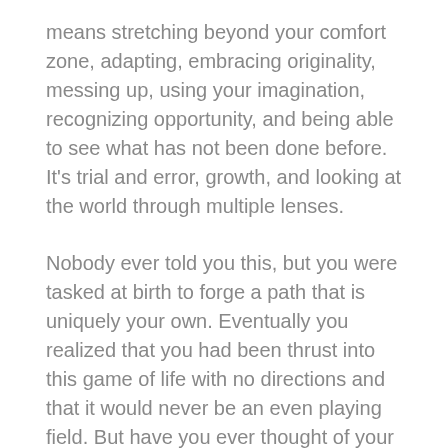means stretching beyond your comfort zone, adapting, embracing originality, messing up, using your imagination, recognizing opportunity, and being able to see what has not been done before. It's trial and error, growth, and looking at the world through multiple lenses.
Nobody ever told you this, but you were tasked at birth to forge a path that is uniquely your own. Eventually you realized that you had been thrust into this game of life with no directions and that it would never be an even playing field. But have you ever thought of your life as a unique masterpiece? In lieu of being given a roadmap, responding creatively seems like the best option we have to maximize the joy and fulfillment we experience in our journeys. In fact, it is what makes you beautiful.